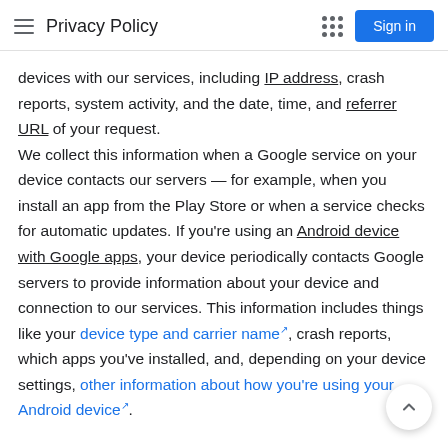Privacy Policy
devices with our services, including IP address, crash reports, system activity, and the date, time, and referrer URL of your request.
We collect this information when a Google service on your device contacts our servers — for example, when you install an app from the Play Store or when a service checks for automatic updates. If you're using an Android device with Google apps, your device periodically contacts Google servers to provide information about your device and connection to our services. This information includes things like your device type and carrier name, crash reports, which apps you've installed, and, depending on your device settings, other information about how you're using your Android device.